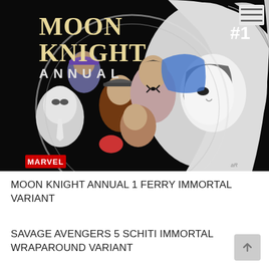[Figure (illustration): Moon Knight Annual #1 comic book cover showing Moon Knight and multiple alter egos arranged in a circular composition. The title reads 'MOON KNIGHT ANNUAL #1' in large cream/gold letters on black background. Marvel logo at bottom left.]
MOON KNIGHT ANNUAL 1 FERRY IMMORTAL VARIANT
SAVAGE AVENGERS 5 SCHITI IMMORTAL WRAPAROUND VARIANT